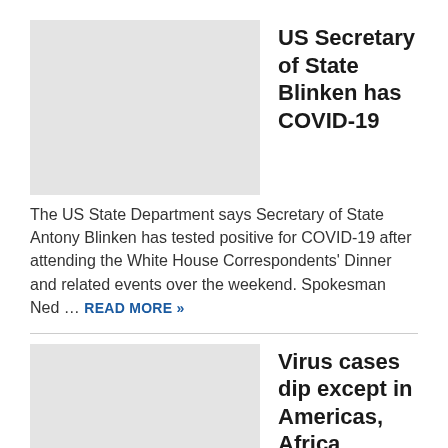[Figure (photo): Gray placeholder image for first article]
US Secretary of State Blinken has COVID-19
The US State Department says Secretary of State Antony Blinken has tested positive for COVID-19 after attending the White House Correspondents' Dinner and related events over the weekend. Spokesman Ned ... READ MORE »
[Figure (photo): Gray placeholder image for second article]
Virus cases dip except in Americas, Africa
The World Health Organisation says the number of newly reported coronavirus cases and deaths globally has continued to fall in the last week...